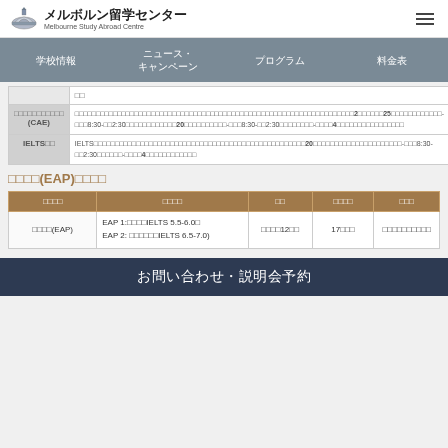メルボルン留学センター Melbourne Study Abroad Centre
学校情報　ニュース・キャンペーン　プログラム　料金表
|  |  |
| --- | --- |
|  | □□ |
| □□□□□□□□□□□ (CAE) | □□□□□□□□□□□□□□□□□□□□□□□□□□□□□□□□□□□□□□□□□□□□□□□□□□□□□□□□□□□□□□□□□□2□□□□□□□25□□□□□□□□□□□□-□□□8:30-□□2:30□□□□□□□□□□□□20□□□□□□□□□□-□□□8:30-□□2:30□□□□□□□□-□□□□4□□□□□□□□□□□□□□□□ |
| IELTS□□ | IELTS□□□□□□□□□□□□□□□□□□□□□□□□□□□□□□□□□□□□□□□□□□□□□□□□□□20□□□□□□□□□□□□□□□□□□□□□-□□□8:30-□□2:30□□□□□□-□□□□4□□□□□□□□□□□□ |
□□□□(EAP)□□□□
| □□□□ | □□□□ | □□ | □□□□ | □□□ |
| --- | --- | --- | --- | --- |
| □□□□(EAP) | EAP 1:□□□□IELTS 5.5-6.0□
EAP 2: □□□□□□IELTS 6.5-7.0) | □□□□12□□ | 17□□□ | □□□□□□□□□□ |
お問い合わせ・説明会予約